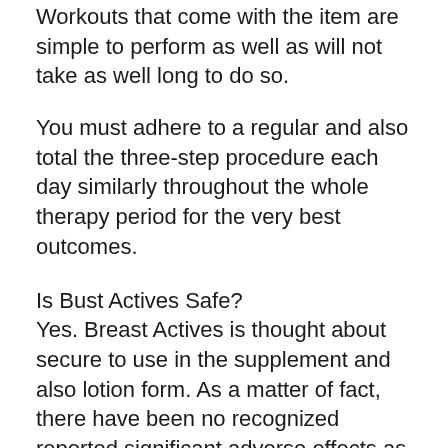Workouts that come with the item are simple to perform as well as will not take as well long to do so.
You must adhere to a regular and also total the three-step procedure each day similarly throughout the whole therapy period for the very best outcomes.
Is Bust Actives Safe?
Yes. Breast Actives is thought about secure to use in the supplement and also lotion form. As a matter of fact, there have been no recognized reported significant adverse effects as well as the product can assist all ladies raise their breast dimension.
It is advised that you speak with your